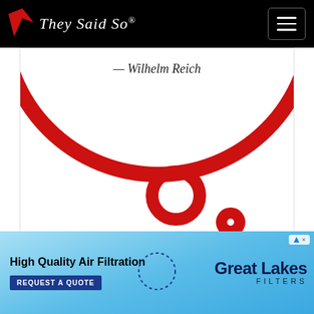They Said So®
[Figure (illustration): Red circular arc (top portion of a large circle) with a smaller red ring/circle at the bottom center and a small red filled circle to the lower right, forming a decorative quote style graphic on white background]
— Wilhelm Reich
[Figure (screenshot): Blue button labeled 'Embed code for this style' and a chevron/dropdown button to the left]
[Figure (photo): Advertisement banner: 'High Quality Air Filtration' with Great Lakes Filters logo, REQUEST A QUOTE call to action, on a blue/sky background with dotted circle graphic]